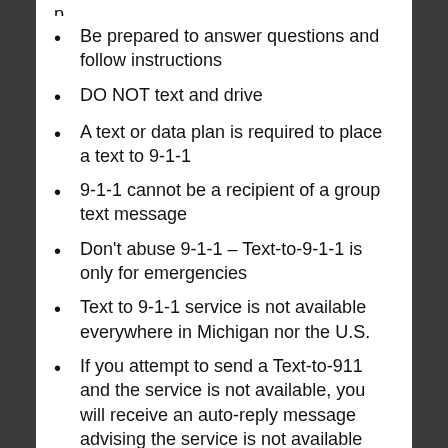Be prepared to answer questions and follow instructions
DO NOT text and drive
A text or data plan is required to place a text to 9-1-1
9-1-1 cannot be a recipient of a group text message
Don't abuse 9-1-1 – Text-to-9-1-1 is only for emergencies
Text to 9-1-1 service is not available everywhere in Michigan nor the U.S.
If you attempt to send a Text-to-911 and the service is not available, you will receive an auto-reply message advising the service is not available and to make a voice call.
Questions about the content of this release can